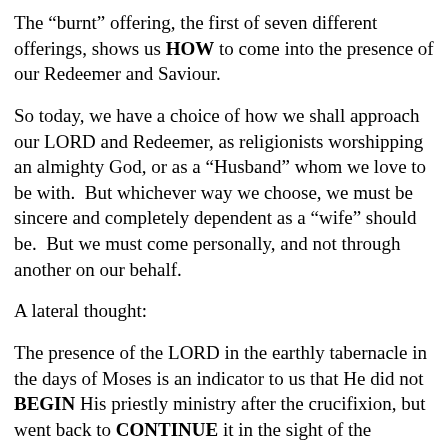The “burnt” offering, the first of seven different offerings, shows us HOW to come into the presence of our Redeemer and Saviour.
So today, we have a choice of how we shall approach our LORD and Redeemer, as religionists worshipping an almighty God, or as a “Husband” whom we love to be with.  But whichever way we choose, we must be sincere and completely dependent as a “wife” should be.  But we must come personally, and not through another on our behalf.
A lateral thought:
The presence of the LORD in the earthly tabernacle in the days of Moses is an indicator to us that He did not BEGIN His priestly ministry after the crucifixion, but went back to CONTINUE it in the sight of the angels.  In the reality, He can do that work from anywhere and at any time, for He IS the tabernacle of the LORD and all the services of the sanctuary are fulfilled in Him!  “And you are complete in Him, which is the Head of all principality and power in